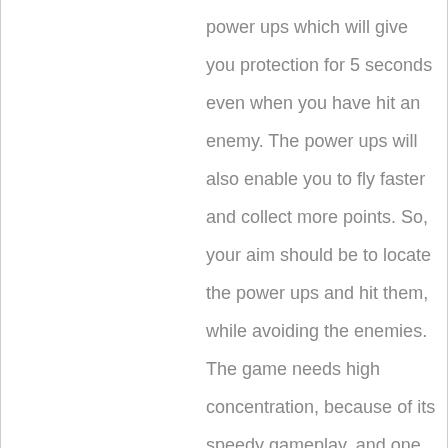power ups which will give you protection for 5 seconds even when you have hit an enemy. The power ups will also enable you to fly faster and collect more points. So, your aim should be to locate the power ups and hit them, while avoiding the enemies. The game needs high concentration, because of its speedy gameplay, and one can easily master the art of playing the game with a little practice. The game can be enjoyed by families together; and it also comes with the scope to compete against each other.